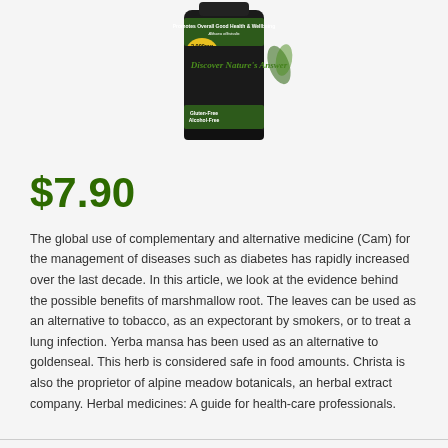[Figure (photo): A bottle of Nature's Answer herbal supplement - Discover Nature's Answer, Gluten-Free, Alcohol-Free, 2,000mg, Promotes Overall Good Health & Wellbeing, Althaea officinalis]
$7.90
The global use of complementary and alternative medicine (Cam) for the management of diseases such as diabetes has rapidly increased over the last decade. In this article, we look at the evidence behind the possible benefits of marshmallow root. The leaves can be used as an alternative to tobacco, as an expectorant by smokers, or to treat a lung infection. Yerba mansa has been used as an alternative to goldenseal. This herb is considered safe in food amounts. Christa is also the proprietor of alpine meadow botanicals, an herbal extract company. Herbal medicines: A guide for health-care professionals.